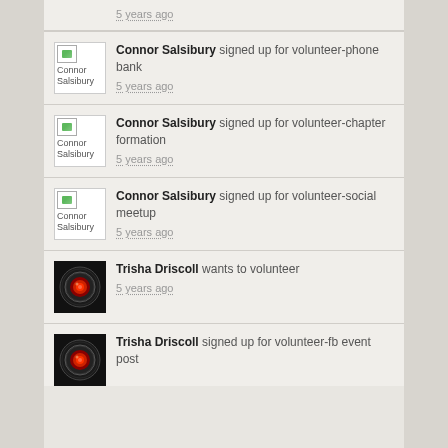Connor Salsibury signed up for volunteer-phone bank — 5 years ago
Connor Salsibury signed up for volunteer-chapter formation — 5 years ago
Connor Salsibury signed up for volunteer-social meetup — 5 years ago
Trisha Driscoll wants to volunteer — 5 years ago
Trisha Driscoll signed up for volunteer-fb event post